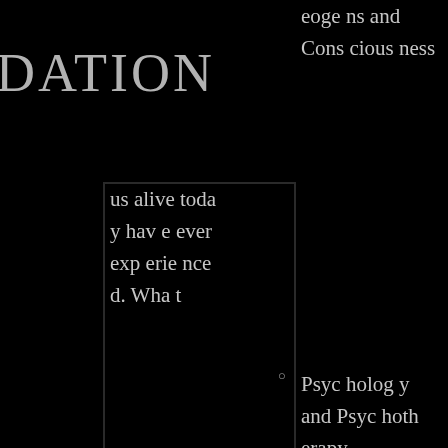DATION
us alive today have ever experienced. What
eoge ns and Consciousness Psychology and Psychotherapy
Parapsychology and Psychical Research